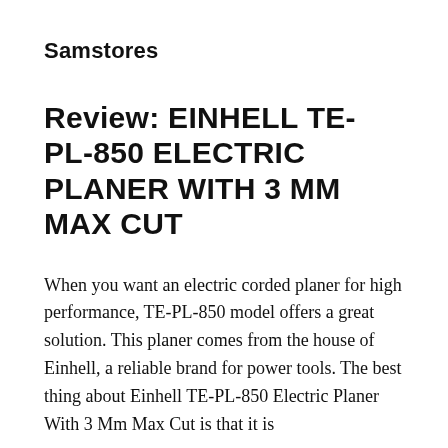Samstores
Review: EINHELL TE-PL-850 ELECTRIC PLANER WITH 3 MM MAX CUT
When you want an electric corded planer for high performance, TE-PL-850 model offers a great solution. This planer comes from the house of Einhell, a reliable brand for power tools. The best thing about Einhell TE-PL-850 Electric Planer With 3 Mm Max Cut is that it is